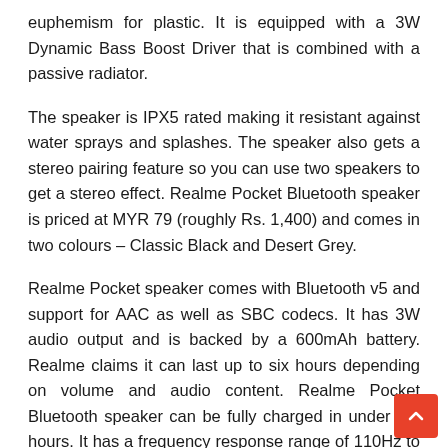euphemism for plastic. It is equipped with a 3W Dynamic Bass Boost Driver that is combined with a passive radiator.
The speaker is IPX5 rated making it resistant against water sprays and splashes. The speaker also gets a stereo pairing feature so you can use two speakers to get a stereo effect. Realme Pocket Bluetooth speaker is priced at MYR 79 (roughly Rs. 1,400) and comes in two colours – Classic Black and Desert Grey.
Realme Pocket speaker comes with Bluetooth v5 and support for AAC as well as SBC codecs. It has 3W audio output and is backed by a 600mAh battery. Realme claims it can last up to six hours depending on volume and audio content. Realme Pocket Bluetooth speaker can be fully charged in under 2.5 hours. It has a frequency response range of 110Hz to 18,000Hz. It has a USB Type-C port for charging.